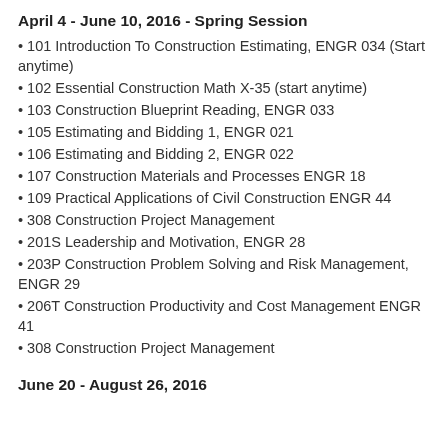April 4 - June 10, 2016 - Spring Session
101 Introduction To Construction Estimating, ENGR 034 (Start anytime)
102 Essential Construction Math X-35 (start anytime)
103 Construction Blueprint Reading, ENGR 033
105 Estimating and Bidding 1, ENGR 021
106 Estimating and Bidding 2, ENGR 022
107 Construction Materials and Processes ENGR 18
109 Practical Applications of Civil Construction ENGR 44
308 Construction Project Management
201S Leadership and Motivation, ENGR 28
203P Construction Problem Solving and Risk Management, ENGR 29
206T Construction Productivity and Cost Management ENGR 41
308 Construction Project Management
June 20 - August 26, 2016